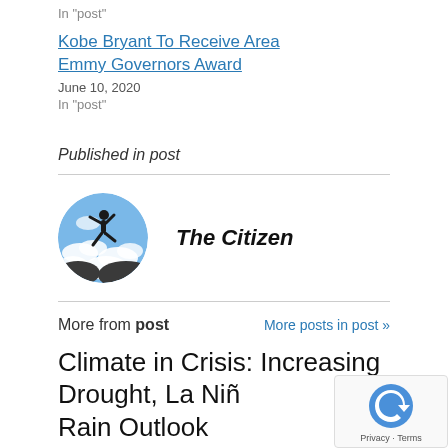In "post"
Kobe Bryant To Receive Area Emmy Governors Award
June 10, 2020
In "post"
Published in post
[Figure (illustration): Circular avatar with a silhouette of a person jumping against a blue sky background]
The Citizen
More from post
More posts in post »
Climate in Crisis: Increasing Drought, La Niña Rain Outlook